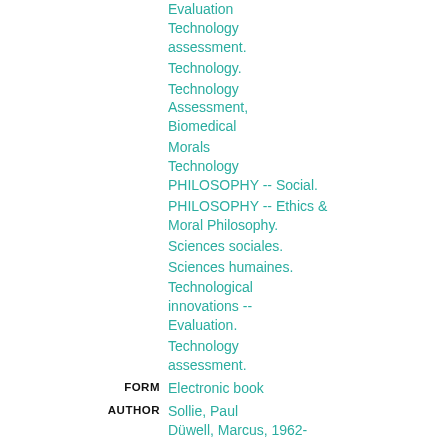Evaluation Technology assessment.
Technology.
Technology Assessment, Biomedical
Morals Technology PHILOSOPHY -- Social.
PHILOSOPHY -- Ethics & Moral Philosophy.
Sciences sociales.
Sciences humaines.
Technological innovations -- Evaluation.
Technology assessment.
FORM   Electronic book
AUTHOR   Sollie, Paul
Düwell, Marcus, 1962-
ISBN   9789048122295
9048122295